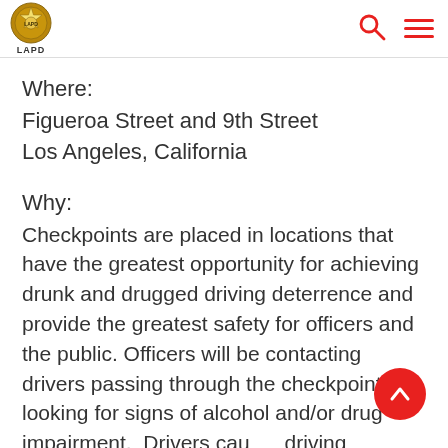LAPD
Where:
Figueroa Street and 9th Street
Los Angeles, California
Why:
Checkpoints are placed in locations that have the greatest opportunity for achieving drunk and drugged driving deterrence and provide the greatest safety for officers and the public. Officers will be contacting drivers passing through the checkpoint looking for signs of alcohol and/or drug impairment.  Drivers caught driving impaired can expect jail, license suspension, and insurance increases, as well as